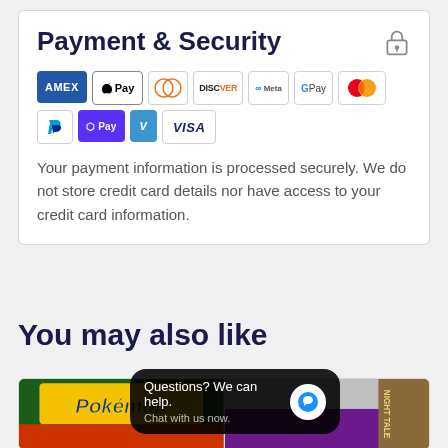Payment & Security
[Figure (infographic): Payment method badges: AMEX, Apple Pay, Diners Club, Discover, Meta Pay, Google Pay, Mastercard, PayPal, Shop Pay, Venmo, Visa]
Your payment information is processed securely. We do not store credit card details nor have access to your credit card information.
You may also like
[Figure (photo): Pokemon trading card booster pack product image]
[Figure (photo): Purple trading card booster pack product image with Night Tale branding]
Questions? We can help. Chat with us now.